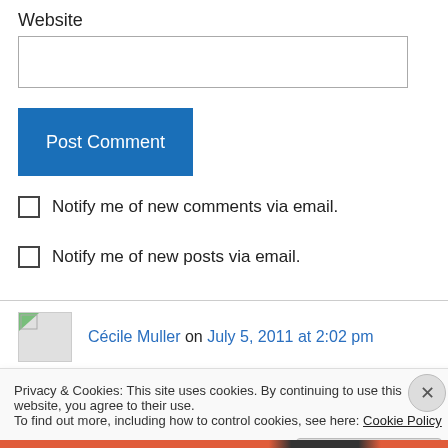Website
[Figure (screenshot): Empty text input box for website URL]
Post Comment
Notify me of new comments via email.
Notify me of new posts via email.
Cécile Muller on July 5, 2011 at 2:02 pm
Privacy & Cookies: This site uses cookies. By continuing to use this website, you agree to their use. To find out more, including how to control cookies, see here: Cookie Policy
Close and accept